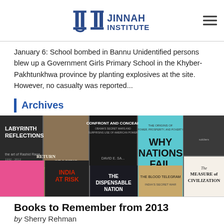JINNAH INSTITUTE
January 6: School bombed in Bannu Unidentified persons blew up a Government Girls Primary School in the Khyber-Pakhtunkhwa province by planting explosives at the site. However, no casualty was reported...
Archives
[Figure (photo): Collage of book covers including Labyrinth Reflections, Return of a King, Confront and Conceal, Why Nations Fail, The Measure of Civilization, India at Risk, The Dispensable Nation, The Blood Telegram, and others]
Books to Remember from 2013
by Sherry Rehman
Date: January 6, 2014